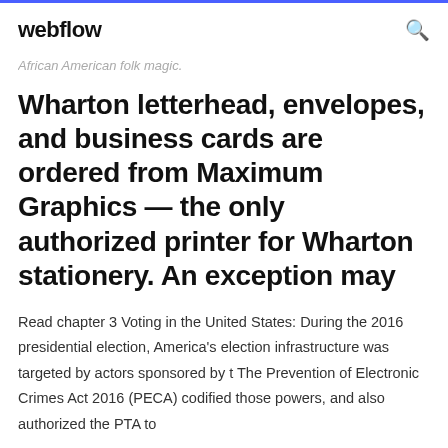webflow
African American folk magic.
Wharton letterhead, envelopes, and business cards are ordered from Maximum Graphics — the only authorized printer for Wharton stationery. An exception may
Read chapter 3 Voting in the United States: During the 2016 presidential election, America's election infrastructure was targeted by actors sponsored by t The Prevention of Electronic Crimes Act 2016 (PECA) codified those powers, and also authorized the PTA to